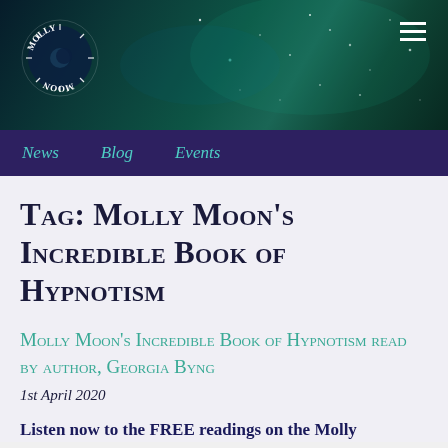[Figure (logo): Molly Moon circular logo with text arranged in a circle on dark space background with teal/green nebula, hamburger menu icon top right]
News   Blog   Events
Tag: Molly Moon's Incredible Book of Hypnotism
Molly Moon's Incredible Book of Hypnotism read by author, Georgia Byng
1st April 2020
Listen now to the FREE readings on the Molly